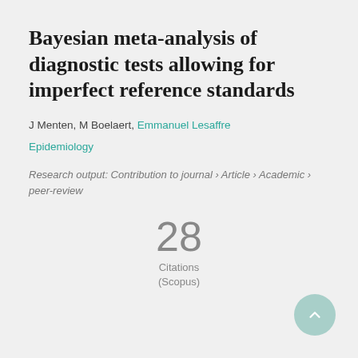Bayesian meta-analysis of diagnostic tests allowing for imperfect reference standards
J Menten, M Boelaert, Emmanuel Lesaffre
Epidemiology
Research output: Contribution to journal › Article › Academic › peer-review
28
Citations
(Scopus)